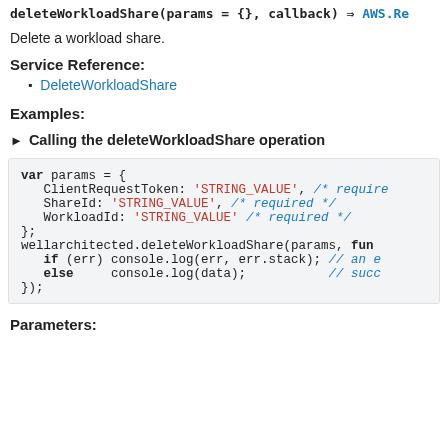deleteWorkloadShare(params = {}, callback) ⇒ AWS.Re
Delete a workload share.
Service Reference:
DeleteWorkloadShare
Examples:
► Calling the deleteWorkloadShare operation
[Figure (screenshot): Code block showing JavaScript usage of deleteWorkloadShare with params object containing ClientRequestToken, ShareId, WorkloadId set to STRING_VALUE, and callback with err/data handling.]
Parameters: